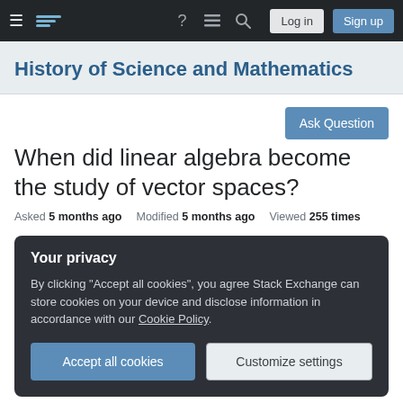Navigation bar: hamburger menu, Stack Exchange logo, help, chat, search icons, Log in and Sign up buttons
History of Science and Mathematics
When did linear algebra become the study of vector spaces?
Asked 5 months ago   Modified 5 months ago   Viewed 255 times
Your privacy
By clicking "Accept all cookies", you agree Stack Exchange can store cookies on your device and disclose information in accordance with our Cookie Policy.
Accept all cookies   Customize settings